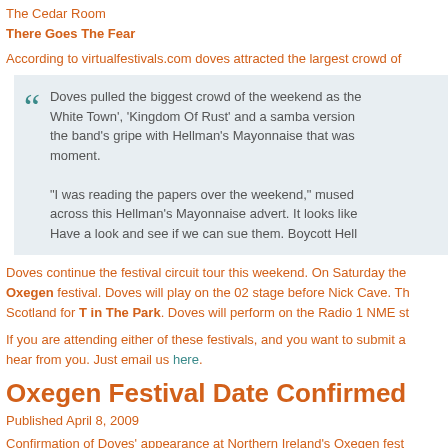The Cedar Room
There Goes The Fear
According to virtualfestivals.com doves attracted the largest crowd of
Doves pulled the biggest crowd of the weekend as the... White Town', 'Kingdom Of Rust' and a samba version... the band's gripe with Hellman's Mayonnaise that was... moment. "I was reading the papers over the weekend," mused... across this Hellman's Mayonnaise advert. It looks like... Have a look and see if we can sue them. Boycott Hell...
Doves continue the festival circuit tour this weekend. On Saturday the Oxegen festival. Doves will play on the 02 stage before Nick Cave. Then Scotland for T in The Park. Doves will perform on the Radio 1 NME st
If you are attending either of these festivals, and you want to submit a hear from you. Just email us here.
Oxegen Festival Date Confirmed
Published April 8, 2009
Confirmation of Doves' appearance at Northern Ireland's Oxegen fest...
Doves will play the festival on Saturday, July 11th.